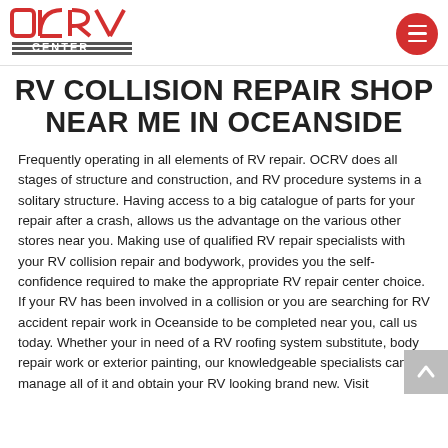OCRV CENTER logo and navigation menu
RV COLLISION REPAIR SHOP NEAR ME IN OCEANSIDE
Frequently operating in all elements of RV repair. OCRV does all stages of structure and construction, and RV procedure systems in a solitary structure. Having access to a big catalogue of parts for your repair after a crash, allows us the advantage on the various other stores near you. Making use of qualified RV repair specialists with your RV collision repair and bodywork, provides you the self-confidence required to make the appropriate RV repair center choice. If your RV has been involved in a collision or you are searching for RV accident repair work in Oceanside to be completed near you, call us today. Whether your in need of a RV roofing system substitute, body repair work or exterior painting, our knowledgeable specialists can manage all of it and obtain your RV looking brand new. Visit